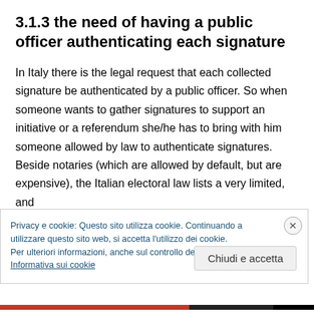3.1.3 the need of having a public officer authenticating each signature
In Italy there is the legal request that each collected signature be authenticated by a public officer. So when someone wants to gather signatures to support an initiative or a referendum she/he has to bring with him someone allowed by law to authenticate signatures. Beside notaries (which are allowed by default, but are expensive), the Italian electoral law lists a very limited, and
Privacy e cookie: Questo sito utilizza cookie. Continuando a utilizzare questo sito web, si accetta l'utilizzo dei cookie.
Per ulteriori informazioni, anche sul controllo dei cookie, leggi qui:
Informativa sui cookie